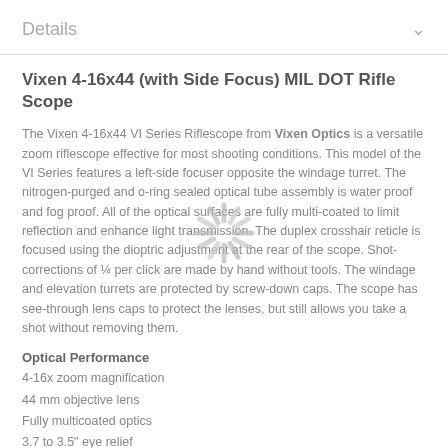Details
Vixen 4-16x44 (with Side Focus) MIL DOT Rifle Scope
The Vixen 4-16x44 VI Series Riflescope from Vixen Optics is a versatile zoom riflescope effective for most shooting conditions. This model of the VI Series features a left-side focuser opposite the windage turret. The nitrogen-purged and o-ring sealed optical tube assembly is water proof and fog proof. All of the optical surfaces are fully multi-coated to limit reflection and enhance light transmission. The duplex crosshair reticle is focused using the dioptric adjustment at the rear of the scope. Shot-corrections of ¼ per click are made by hand without tools. The windage and elevation turrets are protected by screw-down caps. The scope has see-through lens caps to protect the lenses, but still allows you take a shot without removing them.
Optical Performance
4-16x zoom magnification
44 mm objective lens
Fully multicoated optics
3.7 to 3.5" eye relief
11 to 2.8mm exit pupil
28.2 to 2.2' at 100 yd
MIL DOT-style cross-hair reticle
Use and Handling